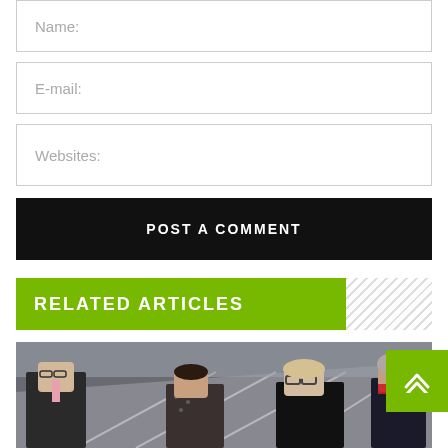Name:
E-mail:
Websites:
Post A Comment
RELATED ARTICLES
[Figure (photo): Group of four people standing in front of a road/highway background]